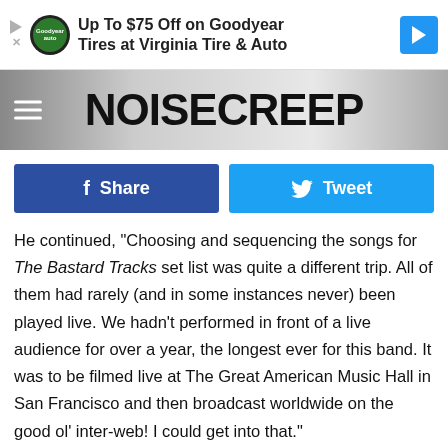[Figure (screenshot): Advertisement banner for Goodyear tires: 'Up To $75 Off on Goodyear Tires at Virginia Tire & Auto' with Goodyear logo and navigation arrow icon]
[Figure (logo): Noisecreep website header logo with hamburger menu icon on the left]
[Figure (screenshot): Social sharing buttons: blue Facebook Share button and light blue Twitter Tweet button]
He continued, "Choosing and sequencing the songs for The Bastard Tracks set list was quite a different trip. All of them had rarely (and in some instances never) been played live. We hadn't performed in front of a live audience for over a year, the longest ever for this band. It was to be filmed live at The Great American Music Hall in San Francisco and then broadcast worldwide on the good ol' inter-web! I could get into that."
ADVERTISEMENT